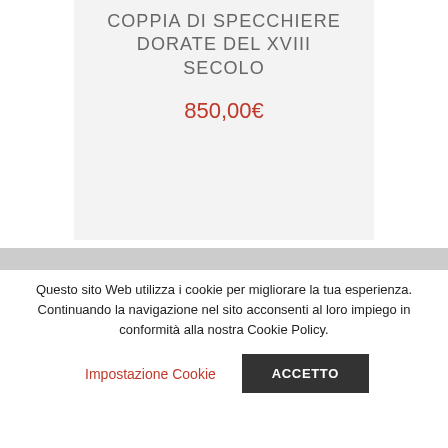COPPIA DI SPECCHIERE DORATE DEL XVIII SECOLO
850,00€
Questo sito Web utilizza i cookie per migliorare la tua esperienza. Continuando la navigazione nel sito acconsenti al loro impiego in conformità alla nostra Cookie Policy.
Impostazione Cookie
ACCETTO